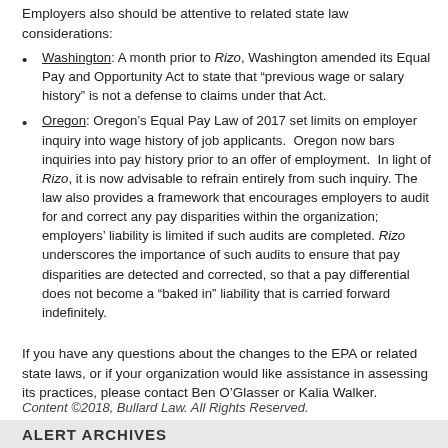Employers also should be attentive to related state law considerations:
Washington: A month prior to Rizo, Washington amended its Equal Pay and Opportunity Act to state that “previous wage or salary history” is not a defense to claims under that Act.
Oregon: Oregon’s Equal Pay Law of 2017 set limits on employer inquiry into wage history of job applicants. Oregon now bars inquiries into pay history prior to an offer of employment. In light of Rizo, it is now advisable to refrain entirely from such inquiry. The law also provides a framework that encourages employers to audit for and correct any pay disparities within the organization; employers’ liability is limited if such audits are completed. Rizo underscores the importance of such audits to ensure that pay disparities are detected and corrected, so that a pay differential does not become a “baked in” liability that is carried forward indefinitely.
If you have any questions about the changes to the EPA or related state laws, or if your organization would like assistance in assessing its practices, please contact Ben O’Glasser or Kalia Walker.
Content ©2018, Bullard Law. All Rights Reserved.
[Figure (other): Tweet and Share buttons]
ALERT ARCHIVES